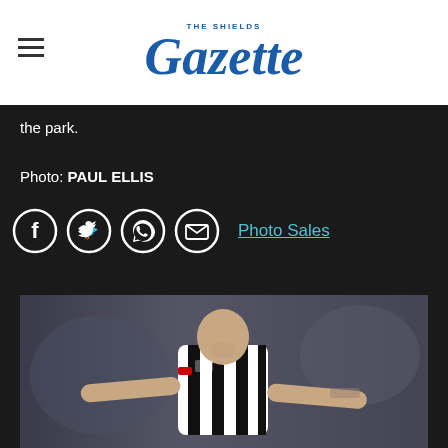THE SHIELDS Gazette
the park.
Photo: PAUL ELLIS
[Figure (other): Social share icons: Facebook, Twitter, WhatsApp, Email circles, and Photo Sales link]
[Figure (photo): Newcastle United footballer in black and white striped kit, bald player looking down with arms outstretched]
Search for
1 Newcastle United Merchandise
Yahoo! Search | Sponsored